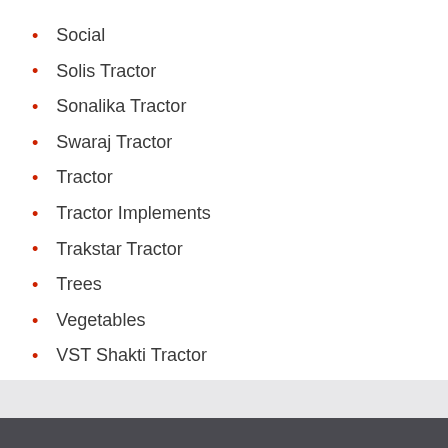Social
Solis Tractor
Sonalika Tractor
Swaraj Tractor
Tractor
Tractor Implements
Trakstar Tractor
Trees
Vegetables
VST Shakti Tractor